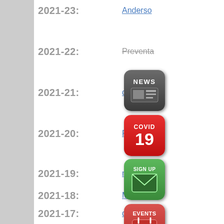2021-23: Anderson
2021-22: Preventa
2021-21: di
2021-20: P
2021-19: me
2021-18: Mutual A
2021-17: di
2021-16: dn
2021-15: Or
2021-14: Transfer
2021-13: Original L
2021-12: Per
2021-11:
[Figure (infographic): Social media and navigation icon buttons overlaying the list: NEWS (gray newspaper icon), COVID 19 (red), SIGN UP envelope (green), EVENTS calendar (red), SEARCH magnifier (blue), Facebook (blue f), Twitter (blue bird), Instagram (gradient camera), Info (blue i)]